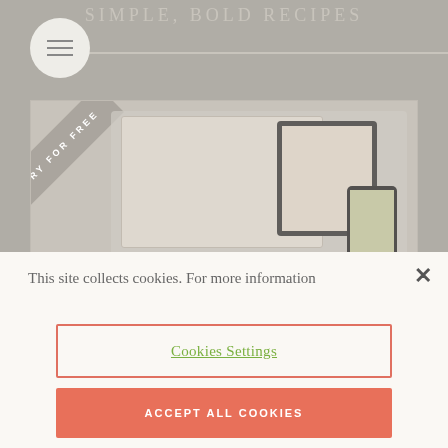[Figure (screenshot): Blurred food recipe website screenshot with 'SIMPLE, BOLD RECIPES' header, hamburger menu button, and device mockups showing the site on desktop, tablet and phone. A diagonal 'TRY FOR FREE' banner is in the top-left corner of the mockup area.]
This site collects cookies. For more information
Cookies Settings
ACCEPT ALL COOKIES